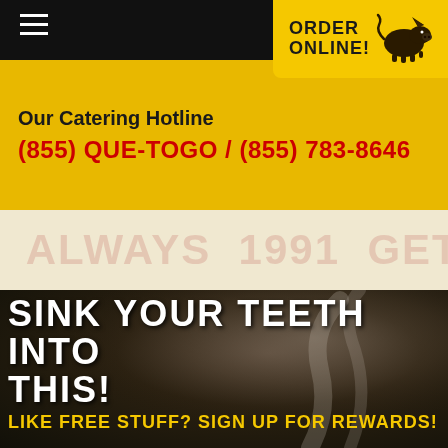[Figure (screenshot): Black navigation bar with hamburger menu icon on left and yellow 'Order Online! To Go' button with pig logo on top right]
Our Catering Hotline
(855) QUE-TOGO / (855) 783-8646
[Figure (photo): Watermark background area with faded red text: '1991', 'always', 'GET', and other barbecue brand watermarks on cream background]
[Figure (photo): Dark moody photo of BBQ food with smoke, serving as background for promotional text]
SINK YOUR TEETH INTO THIS!
LIKE FREE STUFF? SIGN UP FOR REWARDS!